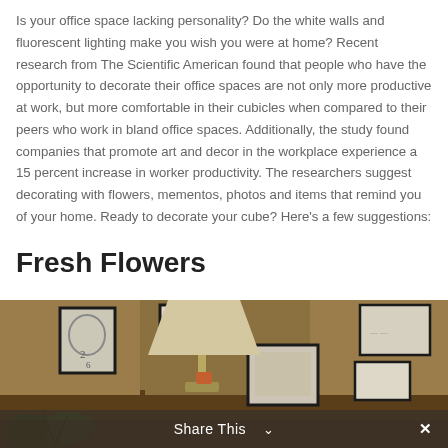Is your office space lacking personality? Do the white walls and fluorescent lighting make you wish you were at home? Recent research from The Scientific American found that people who have the opportunity to decorate their office spaces are not only more productive at work, but more comfortable in their cubicles when compared to their peers who work in bland office spaces. Additionally, the study found companies that promote art and decor in the workplace experience a 15 percent increase in worker productivity. The researchers suggest decorating with flowers, mementos, photos and items that remind you of your home. Ready to decorate your cube? Here's a few suggestions:
Fresh Flowers
[Figure (photo): Photo of an office/room interior with brown wooden walls covered in framed artwork and pictures, a lamp with a light shade, and green plants in the lower portion.]